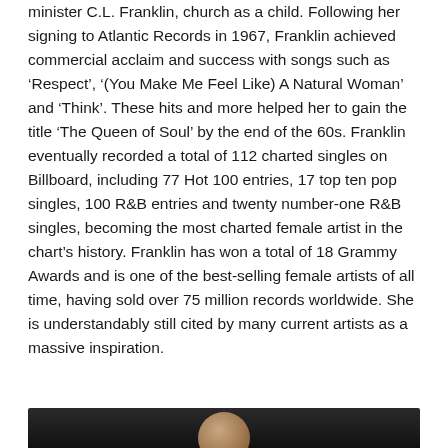minister C.L. Franklin, church as a child. Following her signing to Atlantic Records in 1967, Franklin achieved commercial acclaim and success with songs such as 'Respect', '(You Make Me Feel Like) A Natural Woman' and 'Think'. These hits and more helped her to gain the title 'The Queen of Soul' by the end of the 60s. Franklin eventually recorded a total of 112 charted singles on Billboard, including 77 Hot 100 entries, 17 top ten pop singles, 100 R&B entries and twenty number-one R&B singles, becoming the most charted female artist in the chart's history. Franklin has won a total of 18 Grammy Awards and is one of the best-selling female artists of all time, having sold over 75 million records worldwide. She is understandably still cited by many current artists as a massive inspiration.
[Figure (photo): Partial bottom image strip showing the top of a person's head/face, cropped at the page bottom edge]